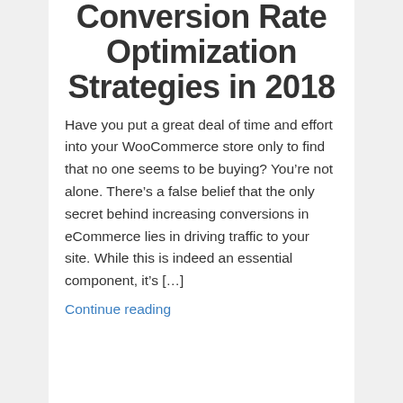Conversion Rate Optimization Strategies in 2018
Have you put a great deal of time and effort into your WooCommerce store only to find that no one seems to be buying? You’re not alone. There’s a false belief that the only secret behind increasing conversions in eCommerce lies in driving traffic to your site. While this is indeed an essential component, it’s […]
Continue reading